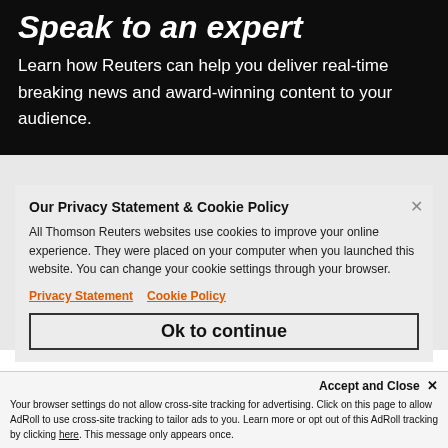Speak to an expert
Learn how Reuters can help you deliver real-time breaking news and award-winning content to your audience.
Our Privacy Statement & Cookie Policy
All Thomson Reuters websites use cookies to improve your online experience. They were placed on your computer when you launched this website. You can change your cookie settings through your browser.
Privacy Statement   Cookie Policy
Ok to continue
Accept and Close ×
Your browser settings do not allow cross-site tracking for advertising. Click on this page to allow AdRoll to use cross-site tracking to tailor ads to you. Learn more or opt out of this AdRoll tracking by clicking here. This message only appears once.